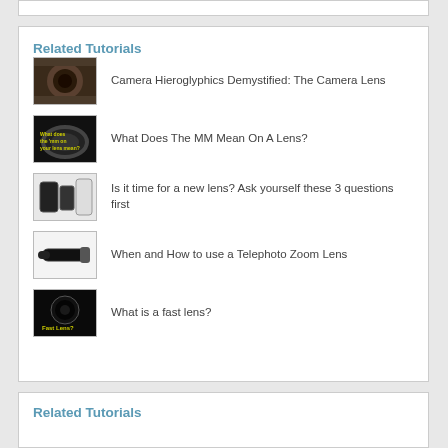Related Tutorials
Camera Hieroglyphics Demystified: The Camera Lens
What Does The MM Mean On A Lens?
Is it time for a new lens? Ask yourself these 3 questions first
When and How to use a Telephoto Zoom Lens
What is a fast lens?
Related Tutorials